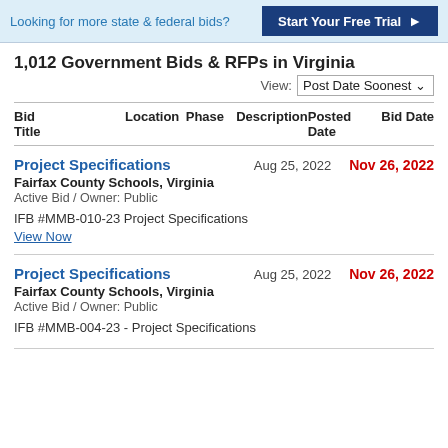Looking for more state & federal bids? Start Your Free Trial
1,012 Government Bids & RFPs in Virginia
View: Post Date Soonest
| Bid Title | Location | Phase | Description | Posted Date | Bid Date |
| --- | --- | --- | --- | --- | --- |
| Project Specifications | Fairfax County Schools, Virginia |  | Active Bid / Owner: Public
IFB #MMB-010-23 Project Specifications | Aug 25, 2022 | Nov 26, 2022 |
| Project Specifications | Fairfax County Schools, Virginia |  | Active Bid / Owner: Public
IFB #MMB-004-23 - Project Specifications | Aug 25, 2022 | Nov 26, 2022 |